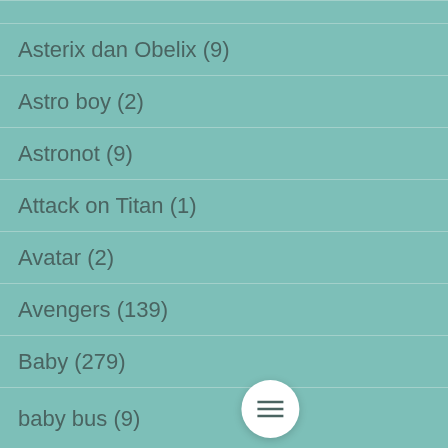(?)
Asterix dan Obelix (9)
Astro boy (2)
Astronot (9)
Attack on Titan (1)
Avatar (2)
Avengers (139)
Baby (279)
baby bus (9)